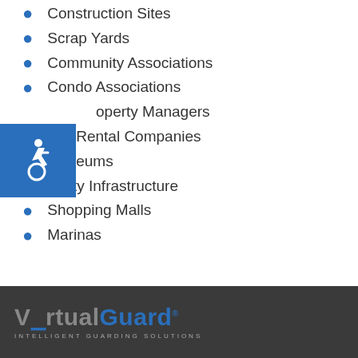Construction Sites
Scrap Yards
Community Associations
Condo Associations
Property Managers
Car Rental Companies
Museums
Utility Infrastructure
Shopping Malls
Marinas
[Figure (logo): VirtualGuard logo with wheelchair accessibility icon overlay and tagline INTELLIGENT GUARDING SOLUTIONS on dark grey footer bar]